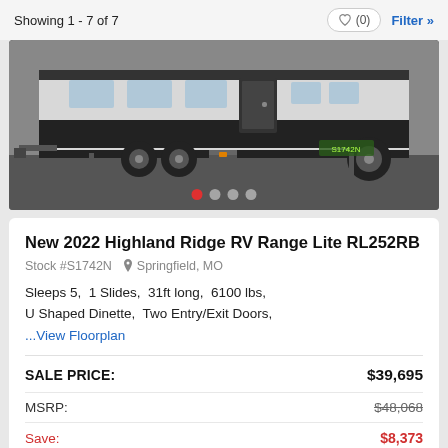Showing 1 - 7 of 7
[Figure (photo): Exterior side view of a white travel trailer RV parked in a lot, showing the entry door, slide-out, wheels, and tongue. Image carousel with 4 dots, first dot active (red).]
New 2022 Highland Ridge RV Range Lite RL252RB
Stock #S1742N  Springfield, MO
Sleeps 5,  1 Slides,  31ft long,  6100 lbs,  U Shaped Dinette,  Two Entry/Exit Doors,
...View Floorplan
SALE PRICE:  $39,695
MSRP:  $48,068
Save:  $8,373